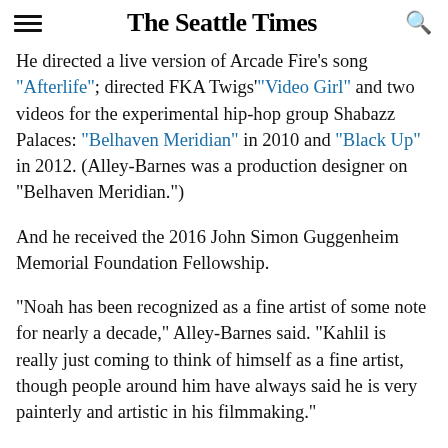The Seattle Times
He directed a live version of Arcade Fire's song “Afterlife”; directed FKA Twigs’ “Video Girl” and two videos for the experimental hip-hop group Shabazz Palaces: “Belhaven Meridian” in 2010 and “Black Up” in 2012. (Alley-Barnes was a production designer on “Belhaven Meridian.”)
And he received the 2016 John Simon Guggenheim Memorial Foundation Fellowship.
“Noah has been recognized as a fine artist of some note for nearly a decade,” Alley-Barnes said. “Kahlil is really just coming to think of himself as a fine artist, though people around him have always said he is very painterly and artistic in his filmmaking.”
The timing of “Vantaa Black” probably doesn’t hurt. It